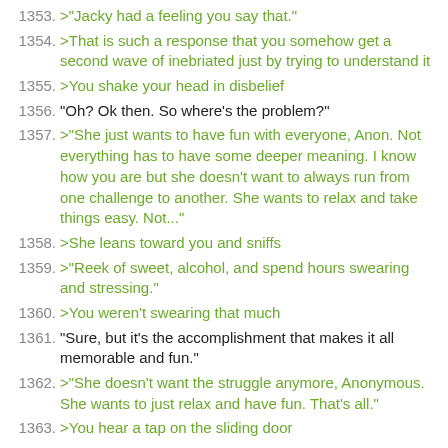1353. >"Jacky had a feeling you say that."
1354. >That is such a response that you somehow get a second wave of inebriated just by trying to understand it
1355. >You shake your head in disbelief
1356. "Oh? Ok then. So where's the problem?"
1357. >"She just wants to have fun with everyone, Anon. Not everything has to have some deeper meaning. I know how you are but she doesn't want to always run from one challenge to another. She wants to relax and take things easy. Not..."
1358. >She leans toward you and sniffs
1359. >"Reek of sweet, alcohol, and spend hours swearing and stressing."
1360. >You weren't swearing that much
1361. "Sure, but it's the accomplishment that makes it all memorable and fun."
1362. >"She doesn't want the struggle anymore, Anonymous. She wants to just relax and have fun. That's all."
1363. >You hear a tap on the sliding door